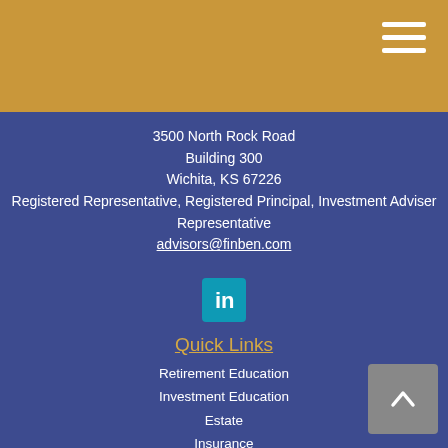[Figure (other): Gold/yellow top navigation bar with hamburger menu icon (three white horizontal lines) in the upper right corner]
3500 North Rock Road
Building 300
Wichita, KS 67226
Registered Representative, Registered Principal, Investment Adviser Representative
advisors@finben.com
[Figure (logo): LinkedIn icon — white 'in' text on a teal/blue square rounded rectangle]
Quick Links
Retirement Education
Investment Education
Estate
Insurance
Tax Education
Money Tips
Lifestyle
All Articles
All Videos